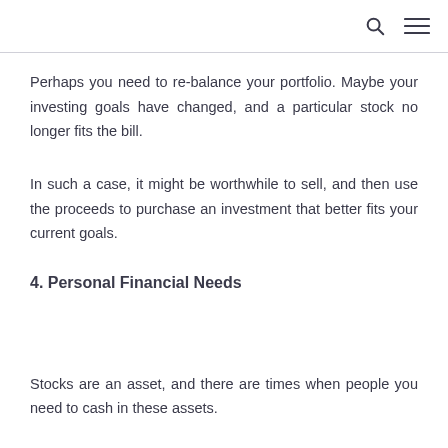[search icon] [menu icon]
Perhaps you need to re-balance your portfolio. Maybe your investing goals have changed, and a particular stock no longer fits the bill.
In such a case, it might be worthwhile to sell, and then use the proceeds to purchase an investment that better fits your current goals.
4. Personal Financial Needs
Stocks are an asset, and there are times when people you need to cash in these assets.